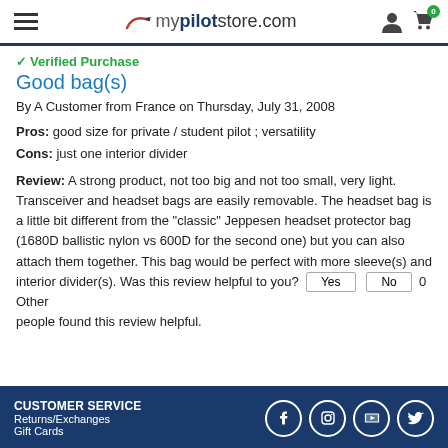mypilotstore.com
✓ Verified Purchase
Good bag(s)
By A Customer from France on Thursday, July 31, 2008
Pros: good size for private / student pilot ; versatility
Cons: just one interior divider
Review: A strong product, not too big and not too small, very light. Transceiver and headset bags are easily removable. The headset bag is a little bit different from the "classic" Jeppesen headset protector bag (1680D ballistic nylon vs 600D for the second one) but you can also attach them together. This bag would be perfect with more sleeve(s) and interior divider(s). Was this review helpful to you? Yes No 0 Other people found this review helpful.
CUSTOMER SERVICE
Returns/Exchanges
Gift Cards